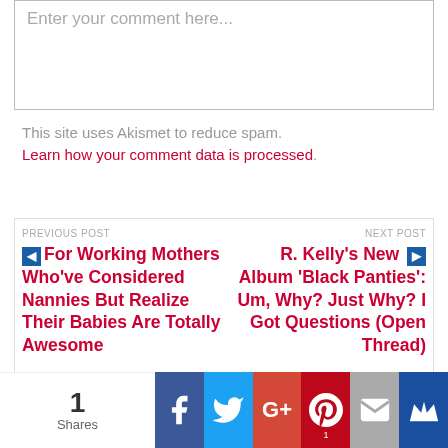Enter your comment here...
This site uses Akismet to reduce spam. Learn how your comment data is processed.
PREVIOUS POST
◄ For Working Mothers Who've Considered Nannies But Realize Their Babies Are Totally Awesome
NEXT POST
R. Kelly's New ► Album 'Black Panties': Um, Why? Just Why? I Got Questions (Open Thread)
1 Shares